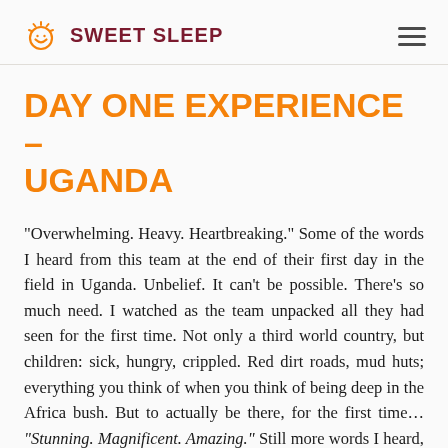SWEET SLEEP
DAY ONE EXPERIENCE – UGANDA
“Overwhelming. Heavy. Heartbreaking.” Some of the words I heard from this team at the end of their first day in the field in Uganda. Unbelief. It can’t be possible. There’s so much need. I watched as the team unpacked all they had seen for the first time. Not only a third world country, but children: sick, hungry, crippled. Red dirt roads, mud huts; everything you think of when you think of being deep in the Africa bush. But to actually be there, for the first time… “Stunning. Magnificent. Amazing.” Still more words I heard, as I watched the